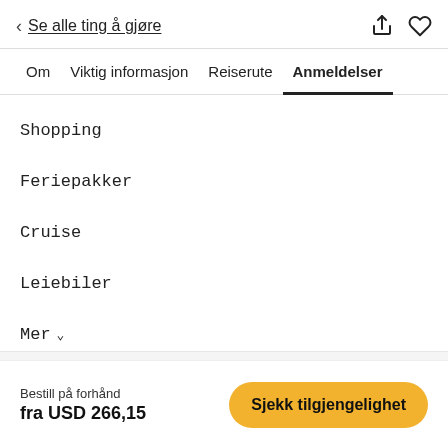< Se alle ting å gjøre
Om   Viktig informasjon   Reiserute   Anmeldelser
Shopping
Feriepakker
Cruise
Leiebiler
Mer ∨
Bestill på forhånd
fra USD 266,15   Sjekk tilgjengenelighet